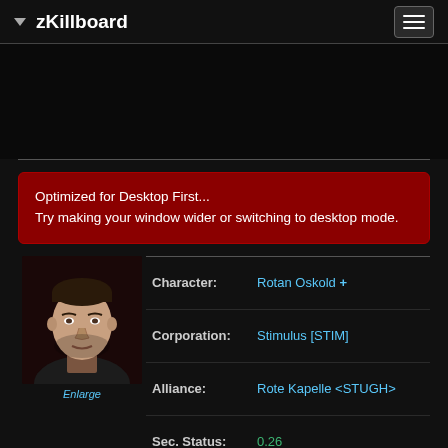zKillboard
Optimized for Desktop First...
Try making your window wider or switching to desktop mode.
| Field | Value |
| --- | --- |
| Character: | Rotan Oskold + |
| Corporation: | Stimulus [STIM] |
| Alliance: | Rote Kapelle <STUGH> |
| Sec. Status: | 0.26 |
| Trophies: | 236 / 505 |
Enlarge